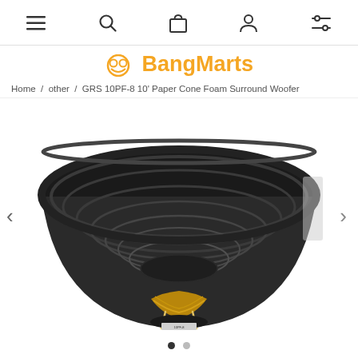Navigation icons: menu, search, cart, account, settings
BangMarts
Home / other / GRS 10PF-8 10' Paper Cone Foam Surround Woofer
[Figure (photo): GRS 10PF-8 10-inch paper cone foam surround woofer speaker, viewed from above at a slight angle, showing the black paper cone, foam surround, and gold colored spider/voice coil assembly visible from below, with a label on the magnet.]
Pagination dots: two dots, first filled dark, second light